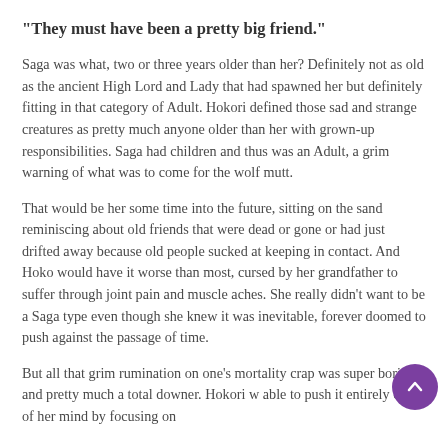"They must have been a pretty big friend."
Saga was what, two or three years older than her? Definitely not as old as the ancient High Lord and Lady that had spawned her but definitely fitting in that category of Adult. Hokori defined those sad and strange creatures as pretty much anyone older than her with grown-up responsibilities. Saga had children and thus was an Adult, a grim warning of what was to come for the wolf mutt.
That would be her some time into the future, sitting on the sand reminiscing about old friends that were dead or gone or had just drifted away because old people sucked at keeping in contact. And Hoko would have it worse than most, cursed by her grandfather to suffer through joint pain and muscle aches. She really didn't want to be a Saga type even though she knew it was inevitable, forever doomed to push against the passage of time.
But all that grim rumination on one's mortality crap was super boring and pretty much a total downer. Hokori w able to push it entirely out of her mind by focusing on